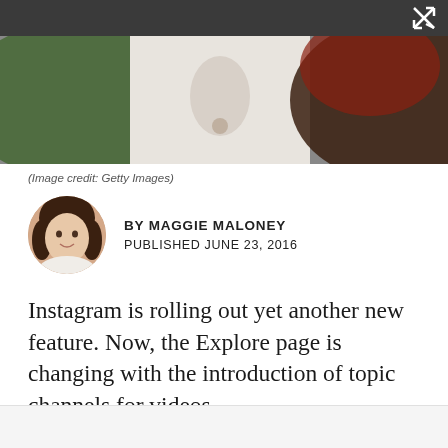[Figure (photo): Top navigation bar with dark background and close/expand icon in top right corner]
[Figure (photo): Cropped photo showing a person wearing a white shirt with a necklace, background blurred]
(Image credit: Getty Images)
[Figure (photo): Circular author headshot of Maggie Maloney, a woman with brown hair wearing a white top]
BY MAGGIE MALONEY
PUBLISHED JUNE 23, 2016
Instagram is rolling out yet another new feature. Now, the Explore page is changing with the introduction of topic channels for videos.